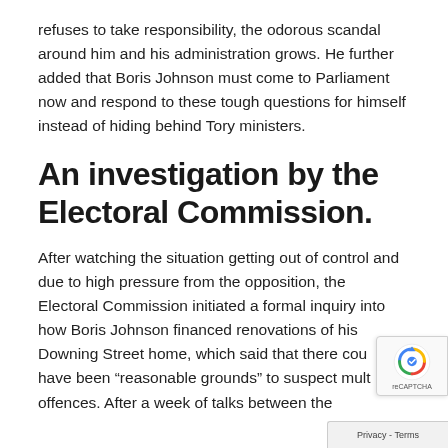refuses to take responsibility, the odorous scandal around him and his administration grows. He further added that Boris Johnson must come to Parliament now and respond to these tough questions for himself instead of hiding behind Tory ministers.
An investigation by the Electoral Commission.
After watching the situation getting out of control and due to high pressure from the opposition, the Electoral Commission initiated a formal inquiry into how Boris Johnson financed renovations of his Downing Street home, which said that there could have been “reasonable grounds” to suspect multiple offences. After a week of talks between the